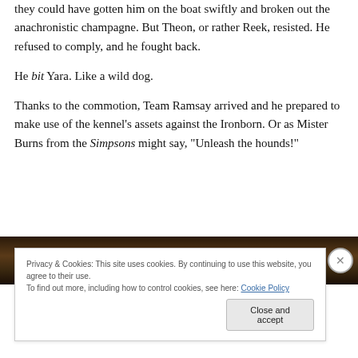they could have gotten him on the boat swiftly and broken out the anachronistic champagne. But Theon, or rather Reek, resisted. He refused to comply, and he fought back.
He bit Yara. Like a wild dog.
Thanks to the commotion, Team Ramsay arrived and he prepared to make use of the kennel’s assets against the Ironborn. Or as Mister Burns from the Simpsons might say, “Unleash the hounds!”
[Figure (photo): Dark, dimly lit scene, likely from a TV show. Brown and dark tones suggesting an indoor or nighttime setting.]
Privacy & Cookies: This site uses cookies. By continuing to use this website, you agree to their use.
To find out more, including how to control cookies, see here: Cookie Policy